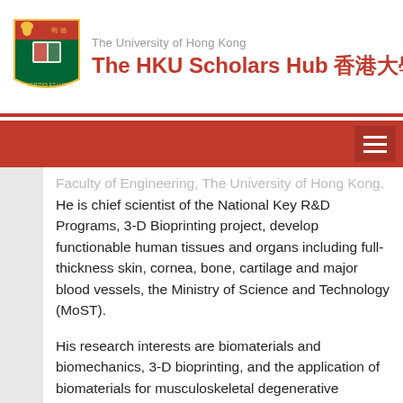The University of Hong Kong — The HKU Scholars Hub 香港大學學術庫
Faculty of Engineering, The University of Hong Kong. He is chief scientist of the National Key R&D Programs, 3-D Bioprinting project, develop functionable human tissues and organs including full-thickness skin, cornea, bone, cartilage and major blood vessels, the Ministry of Science and Technology (MoST).
His research interests are biomaterials and biomechanics, 3-D bioprinting, and the application of biomaterials for musculoskeletal degenerative diseases.  He has published more than 200 papers in top scientific journals with H-index = 54.  Prof Lu sits on the editorial board of some top orthopedic